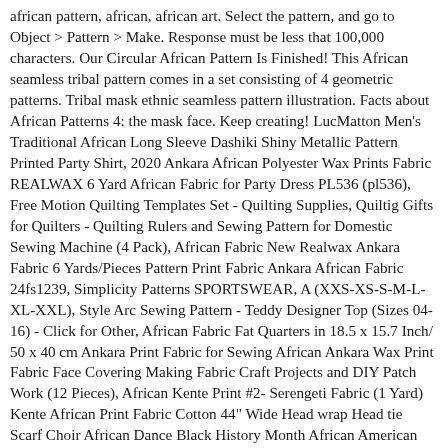african pattern, african, african art. Select the pattern, and go to Object > Pattern > Make. Response must be less that 100,000 characters. Our Circular African Pattern Is Finished! This African seamless tribal pattern comes in a set consisting of 4 geometric patterns. Tribal mask ethnic seamless pattern illustration. Facts about African Patterns 4: the mask face. Keep creating! LucMatton Men's Traditional African Long Sleeve Dashiki Shiny Metallic Pattern Printed Party Shirt, 2020 Ankara African Polyester Wax Prints Fabric REALWAX 6 Yard African Fabric for Party Dress PL536 (pl536), Free Motion Quilting Templates Set - Quilting Supplies, Quiltig Gifts for Quilters - Quilting Rulers and Sewing Pattern for Domestic Sewing Machine (4 Pack), African Fabric New Realwax Ankara Fabric 6 Yards/Pieces Pattern Print Fabric Ankara African Fabric 24fs1239, Simplicity Patterns SPORTSWEAR, A (XXS-XS-S-M-L-XL-XXL), Style Arc Sewing Pattern - Teddy Designer Top (Sizes 04-16) - Click for Other, African Fabric Fat Quarters in 18.5 x 15.7 Inch/ 50 x 40 cm Ankara Print Fabric for Sewing African Ankara Wax Print Fabric Face Covering Making Fabric Craft Projects and DIY Patch Work (12 Pieces), African Kente Print #2- Serengeti Fabric (1 Yard) Kente African Print Fabric Cotton 44" Wide Head wrap Head tie Scarf Choir African Dance Black History Month African American Men Women Kids, Luxurious African Ankara/Dashiki/Kente/Batik